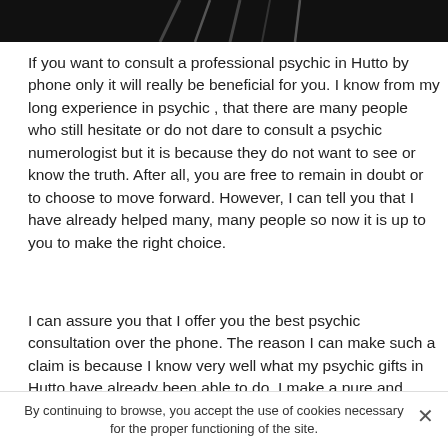[Figure (photo): Dark banner image at top of page, appearing to show silhouettes or figures against a black background]
If you want to consult a professional psychic in Hutto by phone only it will really be beneficial for you. I know from my long experience in psychic , that there are many people who still hesitate or do not dare to consult a psychic numerologist but it is because they do not want to see or know the truth. After all, you are free to remain in doubt or to choose to move forward. However, I can tell you that I have already helped many, many people so now it is up to you to make the right choice.
I can assure you that I offer you the best psychic consultation over the phone. The reason I can make such a claim is because I know very well what my psychic gifts in Hutto have already been able to do. I make a pure and precise psychic to allow you to answer all your questions
By continuing to browse, you accept the use of cookies necessary for the proper functioning of the site.